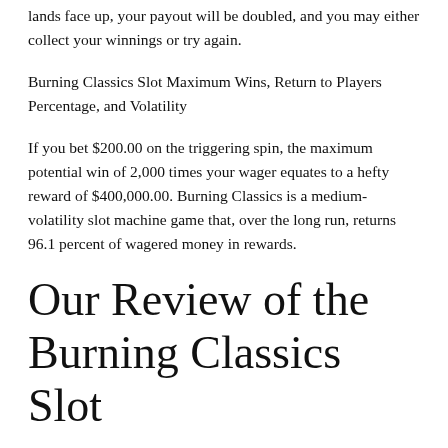lands face up, your payout will be doubled, and you may either collect your winnings or try again.
Burning Classics Slot Maximum Wins, Return to Players Percentage, and Volatility
If you bet $200.00 on the triggering spin, the maximum potential win of 2,000 times your wager equates to a hefty reward of $400,000.00. Burning Classics is a medium-volatility slot machine game that, over the long run, returns 96.1 percent of wagered money in rewards.
Our Review of the Burning Classics Slot